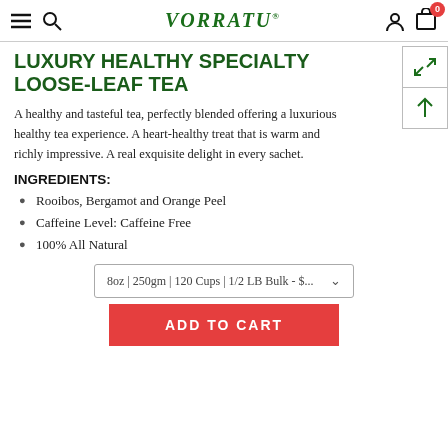VORRATU navigation bar with hamburger menu, search, logo, user icon, cart with badge 0
LUXURY HEALTHY SPECIALTY LOOSE-LEAF TEA
A healthy and tasteful tea, perfectly blended offering a luxurious healthy tea experience. A heart-healthy treat that is warm and richly impressive. A real exquisite delight in every sachet.
INGREDIENTS:
Rooibos, Bergamot and Orange Peel
Caffeine Level: Caffeine Free
100% All Natural
8oz | 250gm | 120 Cups | 1/2 LB Bulk - $...
ADD TO CART